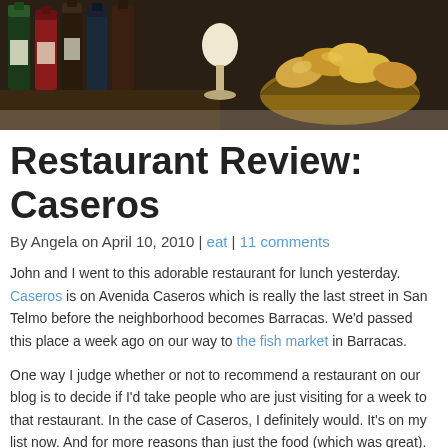[Figure (photo): Photo showing wine bottles on a shelf on the left and a basket of bread rolls on the right]
Restaurant Review: Caseros
By Angela on April 10, 2010 | eat | 11 comments
John and I went to this adorable restaurant for lunch yesterday. Caseros is on Avenida Caseros which is really the last street in San Telmo before the neighborhood becomes Barracas. We'd passed this place a week ago on our way to the fish market in Barracas.
One way I judge whether or not to recommend a restaurant on our blog is to decide if I'd take people who are just visiting for a week to that restaurant. In the case of Caseros, I definitely would. It's on my list now. And for more reasons than just the food (which was great).